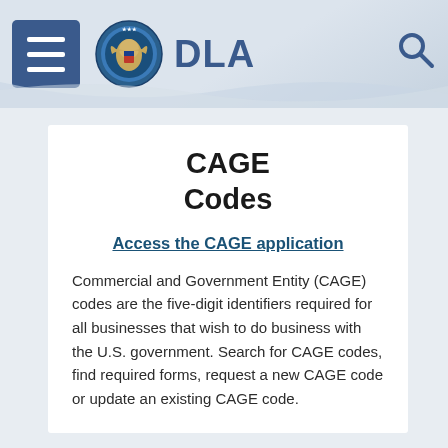DLA
CAGE Codes
Access the CAGE application
Commercial and Government Entity (CAGE) codes are the five-digit identifiers required for all businesses that wish to do business with the U.S. government. Search for CAGE codes, find required forms, request a new CAGE code or update an existing CAGE code.